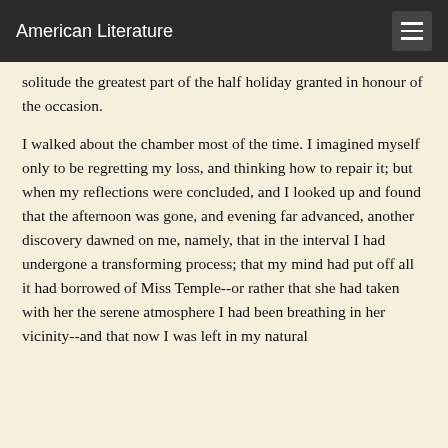American Literature
solitude the greatest part of the half holiday granted in honour of the occasion.
I walked about the chamber most of the time. I imagined myself only to be regretting my loss, and thinking how to repair it; but when my reflections were concluded, and I looked up and found that the afternoon was gone, and evening far advanced, another discovery dawned on me, namely, that in the interval I had undergone a transforming process; that my mind had put off all it had borrowed of Miss Temple--or rather that she had taken with her the serene atmosphere I had been breathing in her vicinity--and that now I was left in my natural